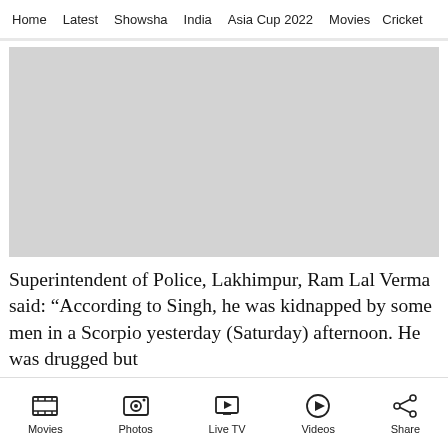Home | Latest | Showsha | India | Asia Cup 2022 | Movies | Cricket
[Figure (photo): Gray placeholder image for a news article photo]
Superintendent of Police, Lakhimpur, Ram Lal Verma said: “According to Singh, he was kidnapped by some men in a Scorpio yesterday (Saturday) afternoon. He was drugged but
Movies | Photos | Live TV | Videos | Share